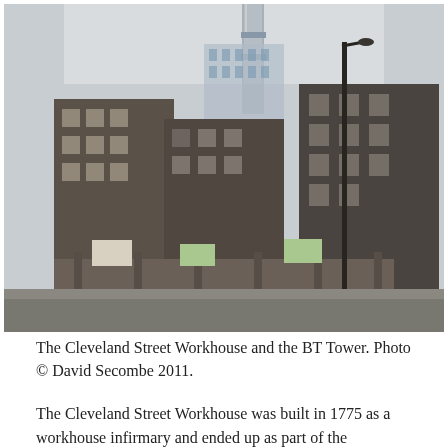[Figure (photo): Black and white photograph of the Cleveland Street Workhouse buildings, multi-storey brick structures with a modern glass tower (BT Tower) visible in the background. Street level view showing old brick walls, signage, and a lamppost.]
The Cleveland Street Workhouse and the BT Tower. Photo © David Secombe 2011.
The Cleveland Street Workhouse was built in 1775 as a workhouse infirmary and ended up as part of the Middlesex Hospital until that institution closed in 2005